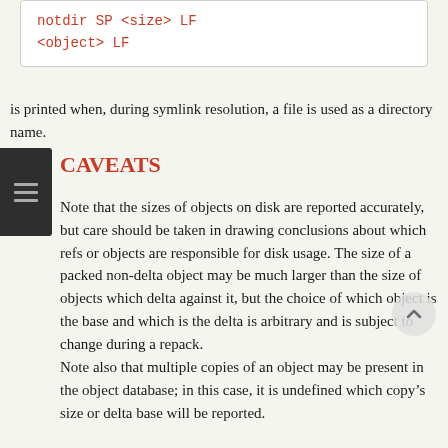notdir SP <size> LF
<object> LF
is printed when, during symlink resolution, a file is used as a directory name.
CAVEATS
Note that the sizes of objects on disk are reported accurately, but care should be taken in drawing conclusions about which refs or objects are responsible for disk usage. The size of a packed non-delta object may be much larger than the size of objects which delta against it, but the choice of which object is the base and which is the delta is arbitrary and is subject to change during a repack.
Note also that multiple copies of an object may be present in the object database; in this case, it is undefined which copy’s size or delta base will be reported.